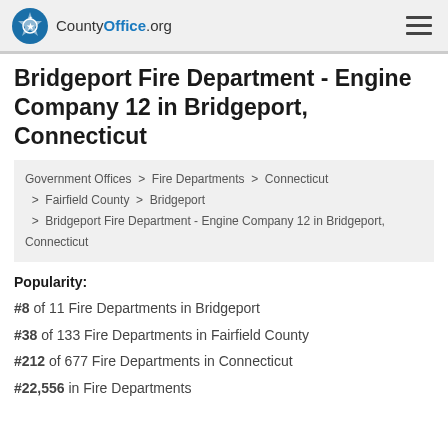CountyOffice.org
Bridgeport Fire Department - Engine Company 12 in Bridgeport, Connecticut
Government Offices > Fire Departments > Connecticut > Fairfield County > Bridgeport > Bridgeport Fire Department - Engine Company 12 in Bridgeport, Connecticut
Popularity:
#8 of 11 Fire Departments in Bridgeport
#38 of 133 Fire Departments in Fairfield County
#212 of 677 Fire Departments in Connecticut
#22,556 in Fire Departments